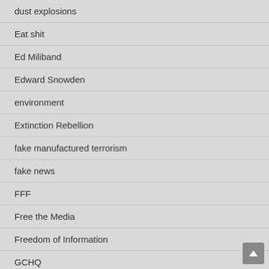dust explosions
Eat shit
Ed Miliband
Edward Snowden
environment
Extinction Rebellion
fake manufactured terrorism
fake news
FFF
Free the Media
Freedom of Information
GCHQ